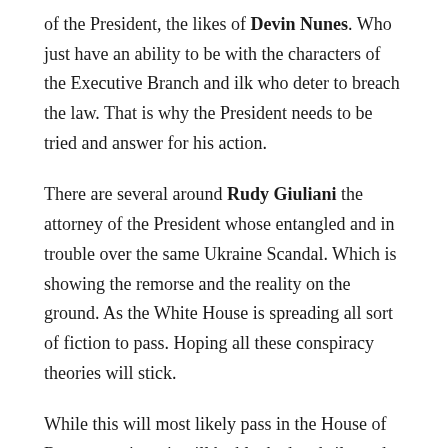of the President, the likes of Devin Nunes. Who just have an ability to be with the characters of the Executive Branch and ilk who deter to breach the law. That is why the President needs to be tried and answer for his action.
There are several around Rudy Giuliani the attorney of the President whose entangled and in trouble over the same Ukraine Scandal. Which is showing the remorse and the reality on the ground. As the White House is spreading all sort of fiction to pass. Hoping all these conspiracy theories will stick.
While this will most likely pass in the House of Representatives, it will be blocked and silenced in the Senate. As the Republicans cannot go against their master, the likes of Lindsay Graham is unbound in his loyalty to